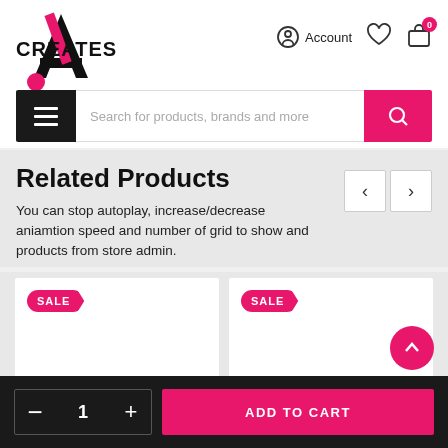[Figure (screenshot): E-commerce website header with logo 'CREATES' and SVG stylized letter A with pink dot, plus account, heart, and bag icons]
[Figure (screenshot): Search bar with hamburger menu button, text input 'Search for products, brands and more', and pink search button]
Related Products
You can stop autoplay, increase/decrease aniamtion speed and number of grid to show and products from store admin.
[Figure (screenshot): Two product cards with SALE badges on a light gray background]
[Figure (screenshot): Bottom bar with quantity control (minus, 1, plus), Add to Cart button, and scroll-to-top pink circle button]